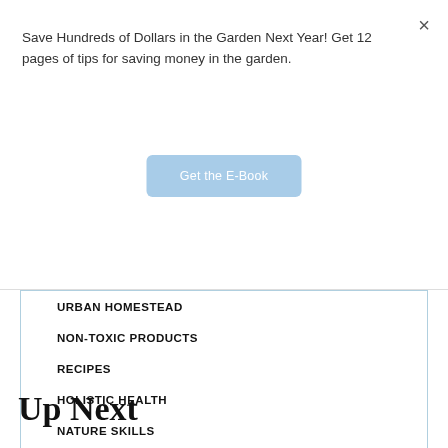Save Hundreds of Dollars in the Garden Next Year! Get 12 pages of tips for saving money in the garden.
×
Get the E-Book
URBAN HOMESTEAD
NON-TOXIC PRODUCTS
RECIPES
HOLISTIC HEALTH
NATURE SKILLS
Up Next